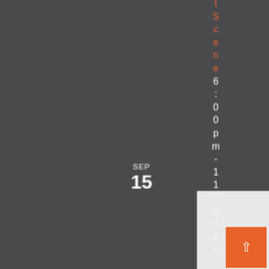t Scene 6:00pm - 11:00pm Thursday
SEP 15